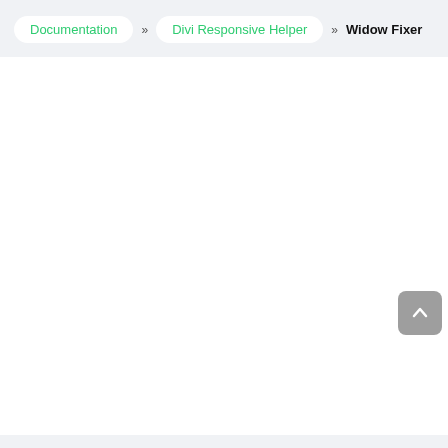Documentation » Divi Responsive Helper » Widow Fixer